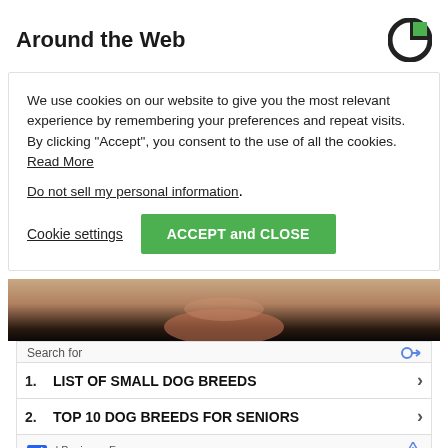Around the Web
We use cookies on our website to give you the most relevant experience by remembering your preferences and repeat visits. By clicking “Accept”, you consent to the use of all the cookies. Read More
Do not sell my personal information.
Cookie settings   ACCEPT and CLOSE
[Figure (photo): Close-up of a person's face, lower portion visible]
Search for
1. LIST OF SMALL DOG BREEDS
2. TOP 10 DOG BREEDS FOR SENIORS
Ad | Business Focus